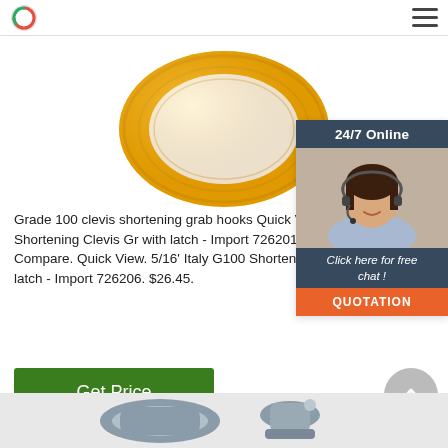[Figure (photo): Yellow ring-shaped Grade 100 clevis shortening grab hook, viewed from above on white background]
[Figure (photo): Customer service agent (woman with headset) with 24/7 Online widget, chat button and QUOTATION button]
Grade 100 clevis shortening grab hooks Quick View. 9/32' Italy G100 Shortening Clevis Gr with latch - Import 726201. $31.83. Add to Cart. Compare. Quick View. 5/16' Italy G100 Shortening Cradle Hook with latch - Import 726206. $26.45.
Get Price
[Figure (photo): Metallic clevis hook hardware, partially visible at bottom of page]